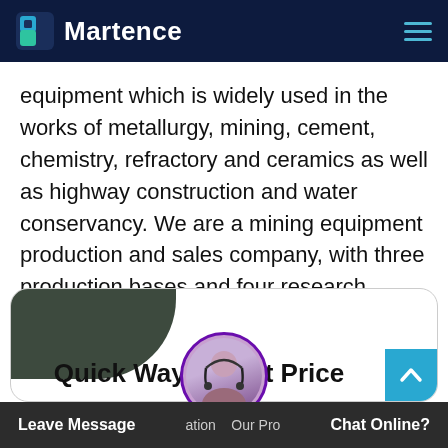Martence
equipment which is widely used in the works of metallurgy, mining, cement, chemistry, refractory and ceramics as well as highway construction and water conservancy. We are a mining equipment production and sales company, with three production bases and four research institutes, more than 600 production equipment, precision production, and service globally.
Quick Way To Get Price
Leave Message   Chat Online?